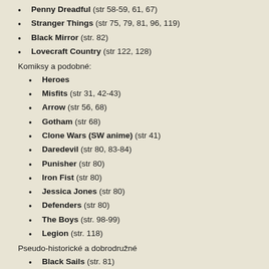Penny Dreadful (str 58-59, 61, 67)
Stranger Things (str 75, 79, 81, 96, 119)
Black Mirror (str. 82)
Lovecraft Country (str 122, 128)
Komiksy a podobné:
Heroes
Misfits (str 31, 42-43)
Arrow (str 56, 68)
Gotham (str 68)
Clone Wars (SW anime) (str 41)
Daredevil (str 80, 83-84)
Punisher (str 80)
Iron Fist (str 80)
Jessica Jones (str 80)
Defenders (str 80)
The Boys (str. 98-99)
Legion (str. 118)
Pseudo-historické a dobrodružné
Black Sails (str. 81)
Vikings (str. 82)
Rím (str. 82)